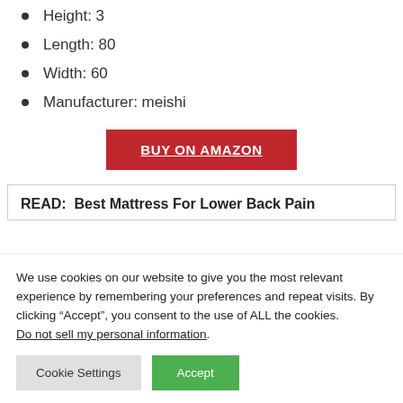Height: 3
Length: 80
Width: 60
Manufacturer: meishi
BUY ON AMAZON
READ:  Best Mattress For Lower Back Pain
We use cookies on our website to give you the most relevant experience by remembering your preferences and repeat visits. By clicking “Accept”, you consent to the use of ALL the cookies.
Do not sell my personal information.
Cookie Settings
Accept